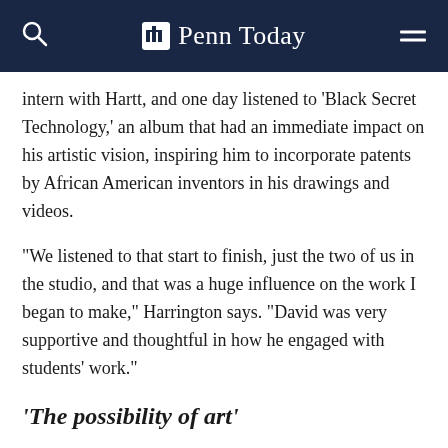Penn Today
intern with Hartt, and one day listened to ‘Black Secret Technology,’ an album that had an immediate impact on his artistic vision, inspiring him to incorporate patents by African American inventors in his drawings and videos.
“We listened to that start to finish, just the two of us in the studio, and that was a huge influence on the work I began to make,” Harrington says. “David was very supportive and thoughtful in how he engaged with students’ work.”
‘The possibility of art’
Hartt says he has been creating artworks constantly for